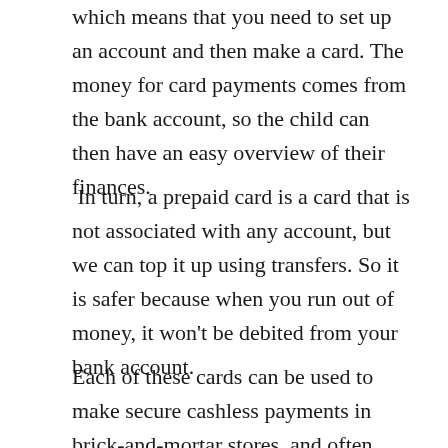A regular card is attached to a bank account, which means that you need to set up an account and then make a card. The money for card payments comes from the bank account, so the child can then have an easy overview of their finances.
In turn, a prepaid card is a card that is not associated with any account, but we can top it up using transfers. So it is safer because when you run out of money, it won't be debited from your bank account.
Each of these cards can be used to make secure cashless payments in brick-and-mortar stores, and often also online, as well